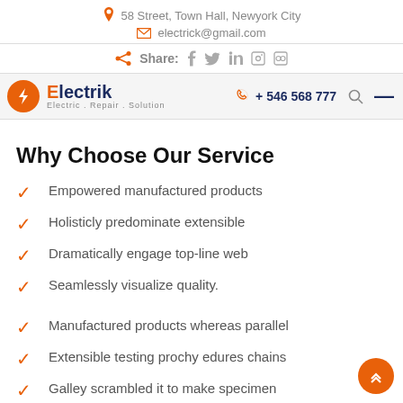58 Street, Town Hall, Newyork City
electrick@gmail.com
Share: f twitter in pinterest skype
[Figure (logo): Electrik logo with orange circle and lightning bolt, text: Electric . Repair . Solution]
+ 546 568 777
Why Choose Our Service
Empowered manufactured products
Holisticly predominate extensible
Dramatically engage top-line web
Seamlessly visualize quality.
Manufactured products whereas parallel
Extensible testing prochy edures chains
Galley scrambled it to make specimen